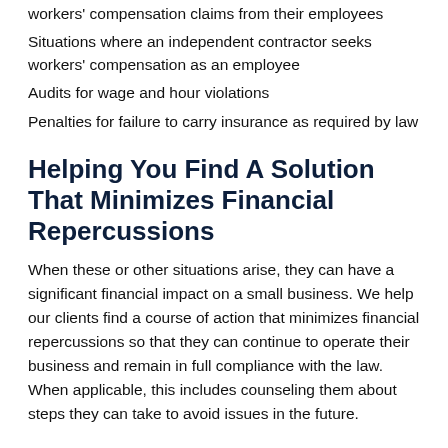workers' compensation claims from their employees
Situations where an independent contractor seeks workers' compensation as an employee
Audits for wage and hour violations
Penalties for failure to carry insurance as required by law
Helping You Find A Solution That Minimizes Financial Repercussions
When these or other situations arise, they can have a significant financial impact on a small business. We help our clients find a course of action that minimizes financial repercussions so that they can continue to operate their business and remain in full compliance with the law. When applicable, this includes counseling them about steps they can take to avoid issues in the future.